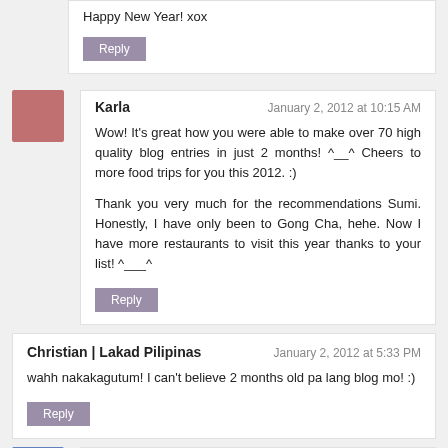Happy New Year! xox
Reply
Karla
January 2, 2012 at 10:15 AM
Wow! It's great how you were able to make over 70 high quality blog entries in just 2 months! ^__^ Cheers to more food trips for you this 2012. :)
Thank you very much for the recommendations Sumi. Honestly, I have only been to Gong Cha, hehe. Now I have more restaurants to visit this year thanks to your list! ^___^
Reply
Christian | Lakad Pilipinas
January 2, 2012 at 5:33 PM
wahh nakakagutum! I can't believe 2 months old pa lang blog mo! :)
Reply
Thirdy Lopez
January 2, 2012 at 5:33 PM